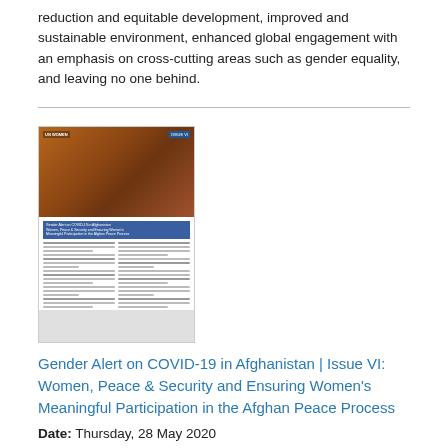reduction and equitable development, improved and sustainable environment, enhanced global engagement with an emphasis on cross-cutting areas such as gender equality, and leaving no one behind.
[Figure (photo): Thumbnail image of a document titled 'Gender Alert on COVID-19 in Afghanistan, Issue VI: Women, Peace & Security and Ensuring Women's Meaningful Participation in the Afghan Peace Process', showing a woman on the cover with document text below.]
Gender Alert on COVID-19 in Afghanistan | Issue VI: Women, Peace & Security and Ensuring Women's Meaningful Participation in the Afghan Peace Process
Date: Thursday, 28 May 2020
This alert focuses on a pillar of the women, peace and security agenda of particular relevance in Afghanistan today – participation. Specifically, the alert engages stakeholders on how to collectively ensure women's meaningful participation in an intra-Afghan peace process.